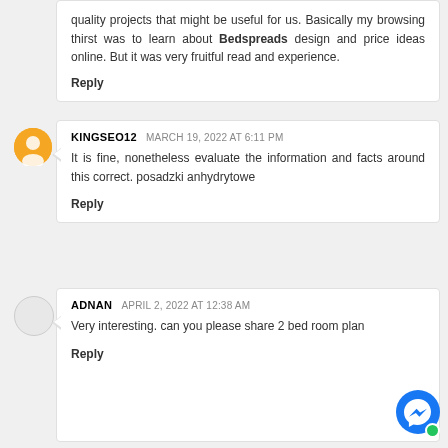quality projects that might be useful for us. Basically my browsing thirst was to learn about Bedspreads design and price ideas online. But it was very fruitful read and experience.
Reply
KINGSEO12  MARCH 19, 2022 AT 6:11 PM
It is fine, nonetheless evaluate the information and facts around this correct. posadzki anhydrytowe
Reply
ADNAN  APRIL 2, 2022 AT 12:38 AM
Very interesting. can you please share 2 bed room plan
Reply